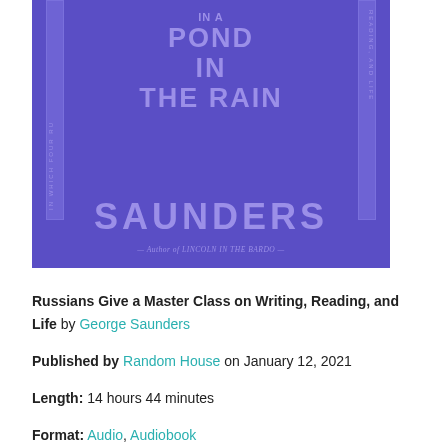[Figure (illustration): Book cover of 'A Swim in a Pond in the Rain' by George Saunders. Purple background with lighter purple title text and large 'SAUNDERS' author text at bottom. Side text reads 'In which four Russians give a master class on writing, reading, and life'. Subtitle: Author of Lincoln in the Bardo.]
Russians Give a Master Class on Writing, Reading, and Life by George Saunders
Published by Random House on January 12, 2021
Length: 14 hours 44 minutes
Format: Audio, Audiobook
Source: Audible
Buy on Amazon
Buy on Bookshop.org
This post contains affiliate links you can use to purchase